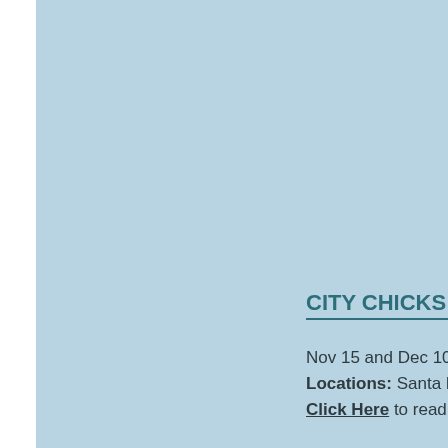CITY CHICKS - SANT
Nov 15 and Dec 10, 20
Locations: Santa Barba
Click Here to read more